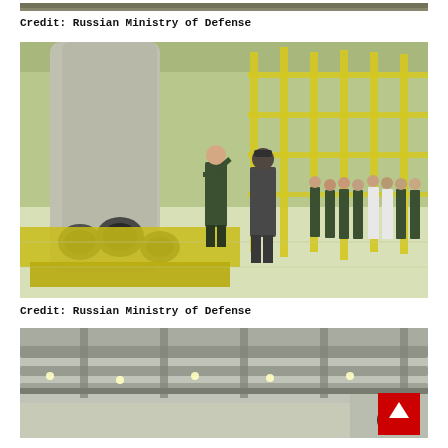[Figure (photo): Partial view of bottom of previous photo — a rocket assembly or military facility scene (cropped at top of page)]
Credit: Russian Ministry of Defense
[Figure (photo): Interior of a large rocket assembly facility. A military officer salutes in front of a large rocket with multiple engines. A group of military personnel and civilians in white lab coats stand in a line. Yellow scaffolding and rocket hardware visible in background.]
Credit: Russian Ministry of Defense
[Figure (photo): Interior of a large industrial facility showing ceiling structure with lights and overhead crane or rail system. Bottom portion of the image is cut off.]